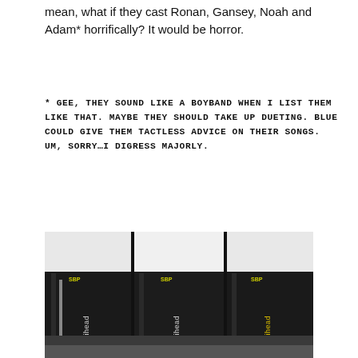mean, what if they cast Ronan, Gansey, Noah and Adam* horrifically? It would be horror.
* GEE, THEY SOUND LIKE A BOYBAND WHEN I LIST THEM LIKE THAT. MAYBE THEY SHOULD TAKE UP DUETING. BLUE COULD GIVE THEM TACTLESS ADVICE ON THEIR SONGS. UM, SORRY…I DIGRESS MAJORLY.
[Figure (photo): Three book spines of Raven Boys series books standing upright, dark covers with text, photographed from above at an angle]